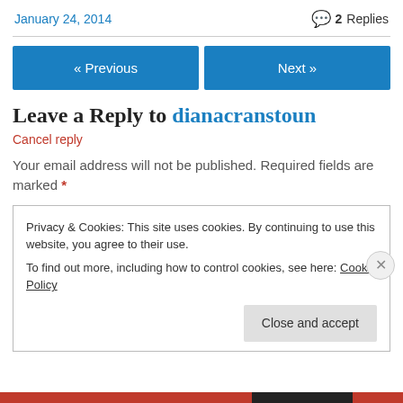January 24, 2014   2 Replies
« Previous   Next »
Leave a Reply to dianacranstoun
Cancel reply
Your email address will not be published. Required fields are marked *
Privacy & Cookies: This site uses cookies. By continuing to use this website, you agree to their use.
To find out more, including how to control cookies, see here: Cookie Policy
Close and accept